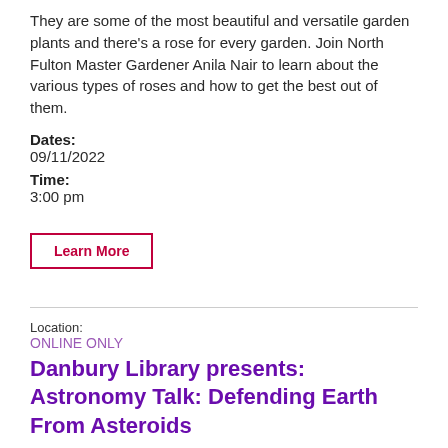They are some of the most beautiful and versatile garden plants and there's a rose for every garden. Join North Fulton Master Gardener Anila Nair to learn about the various types of roses and how to get the best out of them.
Dates:
09/11/2022
Time:
3:00 pm
Learn More
Location:
ONLINE ONLY
Danbury Library presents: Astronomy Talk: Defending Earth From Asteroids
Dates:
09/13/2022
Time:
6 pm